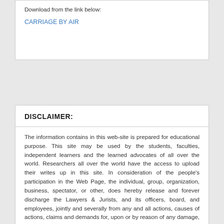Download from the link below:
CARRIAGE BY AIR
DISCLAIMER:
The information contains in this web-site is prepared for educational purpose. This site may be used by the students, faculties, independent learners and the learned advocates of all over the world. Researchers all over the world have the access to upload their writes up in this site. In consideration of the people's participation in the Web Page, the individual, group, organization, business, spectator, or other, does hereby release and forever discharge the Lawyers & Jurists, and its officers, board, and employees, jointly and severally from any and all actions, causes of actions, claims and demands for, upon or by reason of any damage, loss or injury, which hereafter may be sustained by participating their work in the Web Page. This release extends and applies to, and also covers and includes all unknown, unforeseen